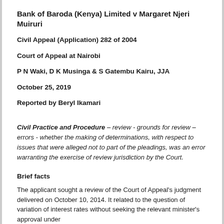Bank of Baroda (Kenya) Limited v Margaret Njeri Muiruri
Civil Appeal (Application) 282 of 2004
Court of Appeal at Nairobi
P N Waki, D K Musinga & S Gatembu Kairu, JJA
October 25, 2019
Reported by Beryl Ikamari
Civil Practice and Procedure – review - grounds for review – errors - whether the making of determinations, with respect to issues that were alleged not to part of the pleadings, was an error warranting the exercise of review jurisdiction by the Court.
Brief facts
The applicant sought a review of the Court of Appeal's judgment delivered on October 10, 2014. It related to the question of variation of interest rates without seeking the relevant minister's approval under